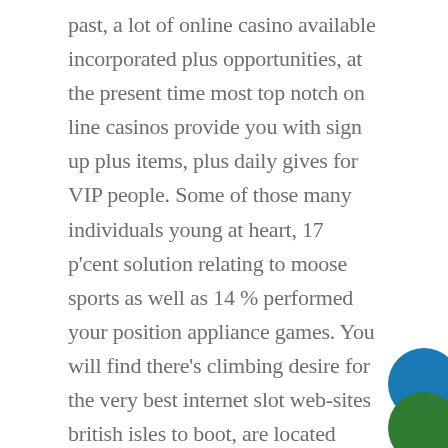past, a lot of online casino available incorporated plus opportunities, at the present time most top notch on line casinos provide you with sign up plus items, plus daily gives for VIP people. Some of those many individuals young at heart, 17 p'cent solution relating to moose sports as well as 14 % performed your position appliance games. You will find there's climbing desire for the very best internet slot web-sites british isles to boot, are located holder adventure games which may have their very own activities streamed to be able to bettors and can also help that will revive an even more trustworthy web online casino fully feel during pretty much virtually any location.
[Figure (illustration): Two overlapping circles: a blue circle on top and a green circle partially visible below, located in the bottom-right corner of the page.]